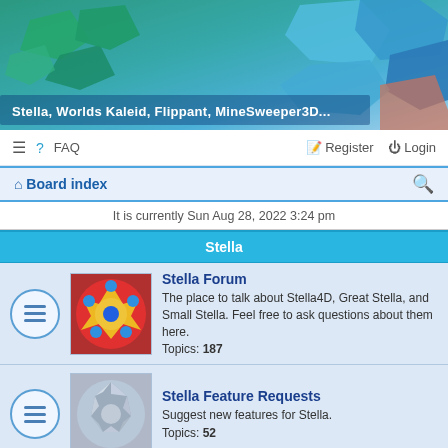[Figure (photo): Banner image showing colorful 3D geometric polyhedra shapes in green, blue, orange tones with text overlay]
Stella, Worlds Kaleid, Flippant, MineSweeper3D...
≡  FAQ   Register  Login
Board index  🔍
It is currently Sun Aug 28, 2022 3:24 pm
Stella
Stella Forum
The place to talk about Stella4D, Great Stella, and Small Stella. Feel free to ask questions about them here.
Topics: 187
Stella Feature Requests
Suggest new features for Stella.
Topics: 52
Stella Reviews and Testimonials
Tell us what you think of Stella.
Topics: 7
Polyhedra
For general discussion of polyhedra, not necessarily Stella-specific.
Topics: 48